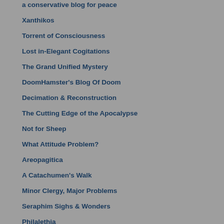a conservative blog for peace
Xanthikos
Torrent of Consciousness
Lost in-Elegant Cogitations
The Grand Unified Mystery
DoomHamster's Blog Of Doom
Decimation & Reconstruction
The Cutting Edge of the Apocalypse
Not for Sheep
What Attitude Problem?
Areopagitica
A Catachumen's Walk
Minor Clergy, Major Problems
Seraphim Sighs & Wonders
Philalethia
Morning Coffee
The Blue Canopy